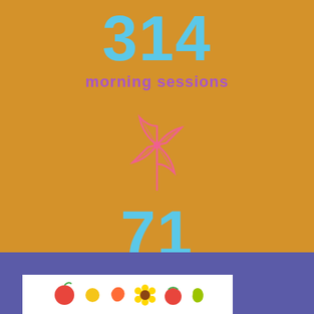314
morning sessions
[Figure (illustration): Pink pinwheel/windmill icon on orange background]
71
full daycare
[Figure (illustration): Colorful fruit/vegetable illustration on white background in purple footer section]